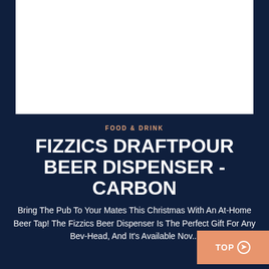[Figure (photo): White rectangle area representing a product image placeholder]
FOOD & DRINK
FIZZICS DRAFTPOUR BEER DISPENSER - CARBON
Bring The Pub To Your Mates This Christmas With An At-Home Beer Tap! The Fizzics Beer Dispenser Is The Perfect Gift For Any Bev-Head, And It's Available Now...
TOP →